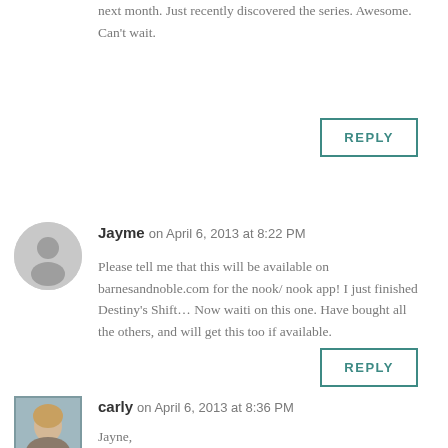next month. Just recently discovered the series. Awesome. Can't wait.
REPLY
Jayme on April 6, 2013 at 8:22 PM
Please tell me that this will be available on barnesandnoble.com for the nook/ nook app! I just finished Destiny's Shift... Now waiti on this one. Have bought all the others, and will get this too if available.
REPLY
carly on April 6, 2013 at 8:36 PM
Jayne,